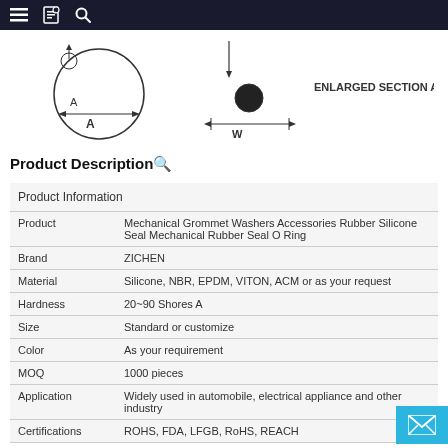navigation bar with menu, bookmark, and search icons
[Figure (engineering-diagram): Technical diagram of a grommet/O-ring showing a cross-sectional circle with dimension A marked, and an enlarged section A-A showing the cross-section with width W labeled. Text 'ENLARGED SECTION A-A' appears to the right.]
Product Description🔍
| Product Information |  |
| --- | --- |
| Product | Mechanical Grommet Washers Accessories Rubber Silicone Seal Mechanical Rubber Seal O Ring |
| Brand | ZICHEN |
| Material | Silicone, NBR, EPDM, VITON, ACM or as your request |
| Hardness | 20~90 Shores A |
| Size | Standard or customize |
| Color | As your requirement |
| MOQ | 1000 pieces |
| Application | Widely used in automobile, electrical appliance and other industry |
| Certifications | ROHS, FDA, LFGB, RoHS, REACH |